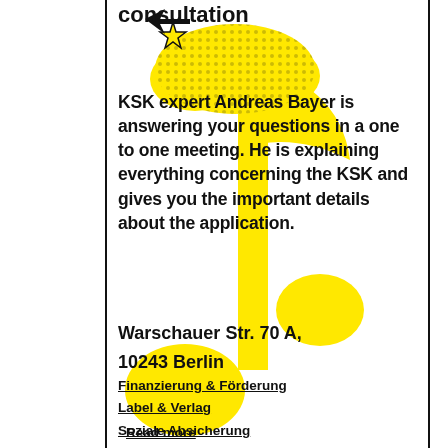[Figure (illustration): Yellow decorative music note and dotted cloud graphic in the background of the page]
KSK expert Andreas Bayer is answering your questions in a one to one meeting. He is explaining everything concerning the KSK and gives you the important details about the application.
Warschauer Str. 70 A,
10243 Berlin
Finanzierung & Förderung
Label & Verlag
Soziale Absicherung
Read more